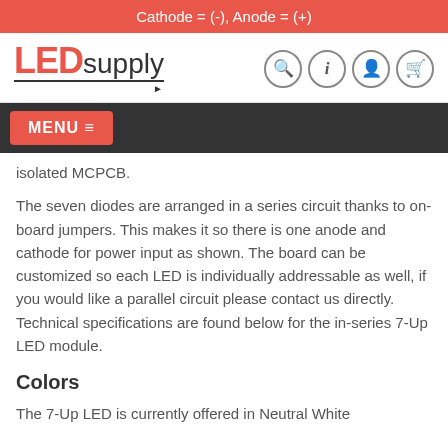Cathode = (-), Anode = (+)
[Figure (logo): LEDsupply logo in red and dark grey with navigation icons (search, info, account, cart)]
MENU ≡
isolated MCPCB.
The seven diodes are arranged in a series circuit thanks to on-board jumpers. This makes it so there is one anode and cathode for power input as shown. The board can be customized so each LED is individually addressable as well, if you would like a parallel circuit please contact us directly. Technical specifications are found below for the in-series 7-Up LED module.
Colors
The 7-Up LED is currently offered in Neutral White